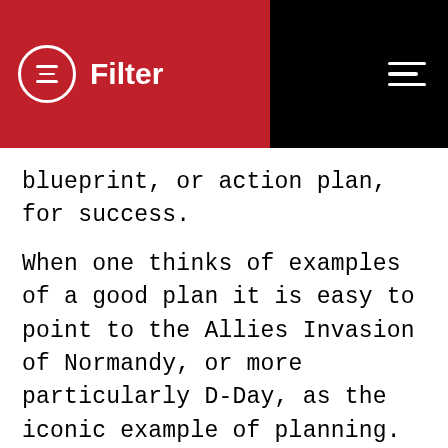Filter
blueprint, or action plan, for success.
When one thinks of examples of a good plan it is easy to point to the Allies Invasion of Normandy, or more particularly D-Day, as the iconic example of planning. To this day D-Day is still believed to be the largest logistical operation ever carried out, and it had to be done in secret as well! You can read